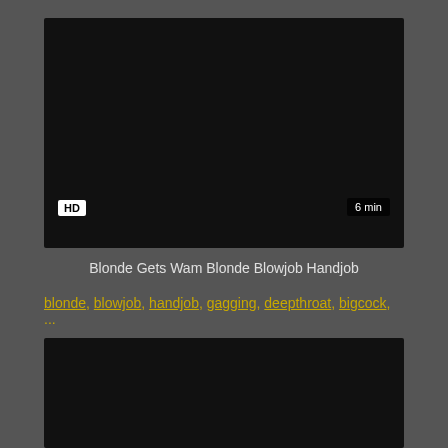[Figure (screenshot): Black video thumbnail area with HD badge and 6 min duration label]
Blonde Gets Wam Blonde Blowjob Handjob
blonde, blowjob, handjob, gagging, deepthroat, bigcock, ...
[Figure (screenshot): Second black video thumbnail area]